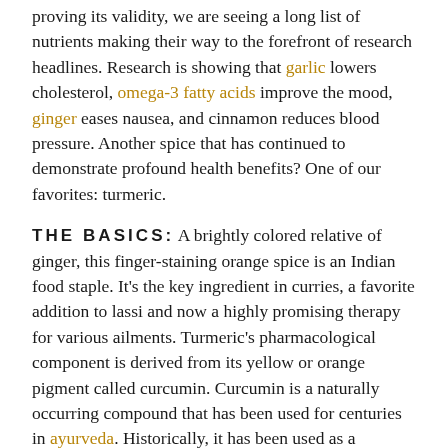proving its validity, we are seeing a long list of nutrients making their way to the forefront of research headlines. Research is showing that garlic lowers cholesterol, omega-3 fatty acids improve the mood, ginger eases nausea, and cinnamon reduces blood pressure. Another spice that has continued to demonstrate profound health benefits? One of our favorites: turmeric.
THE BASICS: A brightly colored relative of ginger, this finger-staining orange spice is an Indian food staple. It's the key ingredient in curries, a favorite addition to lassi and now a highly promising therapy for various ailments. Turmeric's pharmacological component is derived from its yellow or orange pigment called curcumin. Curcumin is a naturally occurring compound that has been used for centuries in ayurveda. Historically, it has been used as a treatment for ailments such as allergies, diabetes and ulcers, as well as an agent to treat menstrual difficulties, hemorrhage and bruises.